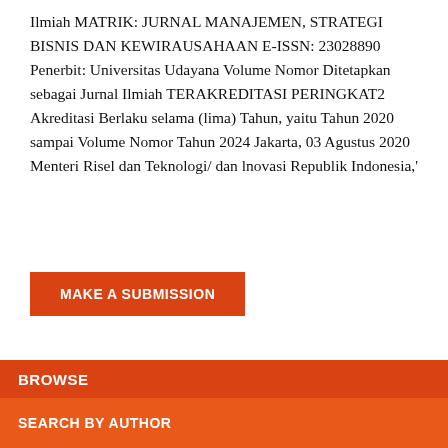Ilmiah MATRIK: JURNAL MANAJEMEN, STRATEGI BISNIS DAN KEWIRAUSAHAAN E-ISSN: 23028890 Penerbit: Universitas Udayana Volume Nomor Ditetapkan sebagai Jurnal Ilmiah TERAKREDITASI PERINGKAT2 Akreditasi Berlaku selama (lima) Tahun, yaitu Tahun 2020 sampai Volume Nomor Tahun 2024 Jakarta, 03 Agustus 2020 Menteri Risel dan Teknologi/ dan lnovasi Republik Indonesia,'
MAKE A SUBMISSION
BROWSE
SEARCH BY AUTHOR